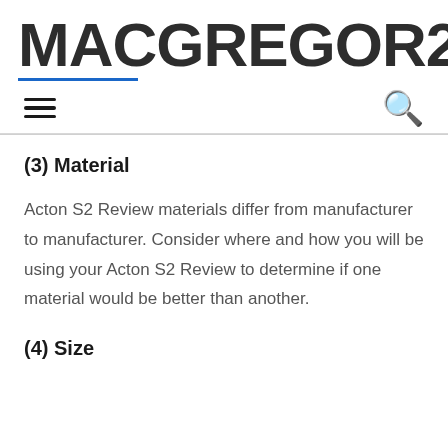MACGREGOR26
(3) Material
Acton S2 Review materials differ from manufacturer to manufacturer. Consider where and how you will be using your Acton S2 Review to determine if one material would be better than another.
(4) Size